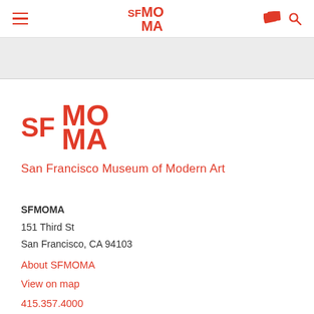SFMOMA navigation bar with hamburger menu, SFMOMA logo, bookmark icon and search icon
[Figure (screenshot): Gray band / image placeholder area below the navigation bar]
[Figure (logo): SFMOMA logo in red — SF in smaller weight, MO on top right, MA below right]
San Francisco Museum of Modern Art
SFMOMA
151 Third St
San Francisco, CA 94103
About SFMOMA
View on map
415.357.4000
Contact Us